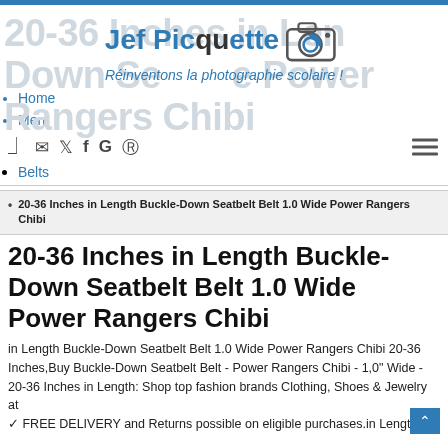[Figure (logo): Jef Picquette photography logo with camera icon and tagline 'Réinventons la photographie scolaire !']
Home
Men
Belts
20-36 Inches in Length Buckle-Down Seatbelt Belt 1.0 Wide Power Rangers Chibi
20-36 Inches in Length Buckle-Down Seatbelt Belt 1.0 Wide Power Rangers Chibi
in Length Buckle-Down Seatbelt Belt 1.0 Wide Power Rangers Chibi 20-36 Inches,Buy Buckle-Down Seatbelt Belt - Power Rangers Chibi - 1,0" Wide - 20-36 Inches in Length: Shop top fashion brands Clothing, Shoes & Jewelry at ✓ FREE DELIVERY and Returns possible on eligible purchases.in Length